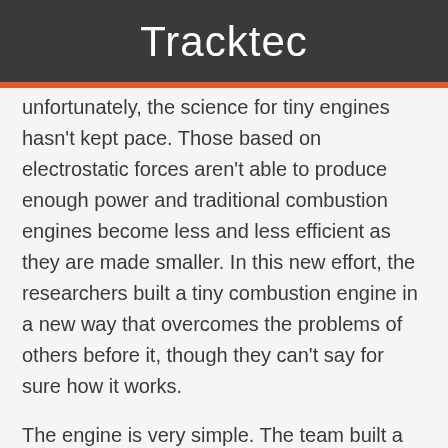Tracktec
unfortunately, the science for tiny engines hasn't kept pace. Those based on electrostatic forces aren't able to produce enough power and traditional combustion engines become less and less efficient as they are made smaller. In this new effort, the researchers built a tiny combustion engine in a new way that overcomes the problems of others before it, though they can't say for sure how it works.
The engine is very simple. The team built a tiny pressure chamber with a flexible membrane at one end, they then added wires inside that ran through a saltwater solution. Sending current through the wires caused hydrogen and oxygen